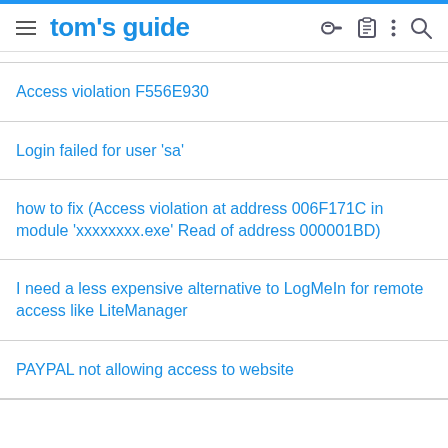tom's guide
Access violation F556E930
Login failed for user 'sa'
how to fix (Access violation at address 006F171C in module 'xxxxxxxx.exe' Read of address 000001BD)
I need a less expensive alternative to LogMeIn for remote access like LiteManager
PAYPAL not allowing access to website